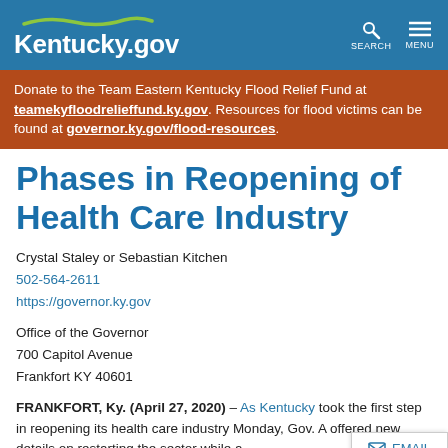Kentucky.gov
Donate to the Team Eastern Kentucky Flood Relief Fund at teamekyfloodrelieffund.ky.gov. Resources for flood victims can be found at governor.ky.gov/flood-resources.
Phases in Reopening of Health Care Industry
Crystal Staley or Sebastian Kitchen
502-564-2611
https://governor.ky.gov
Office of the Governor
700 Capitol Avenue
Frankfort KY 40601
FRANKFORT, Ky. (April 27, 2020) – As Kentucky took the first step in reopening its health care industry Monday, Gov. A offered new details on restarting the sector while a